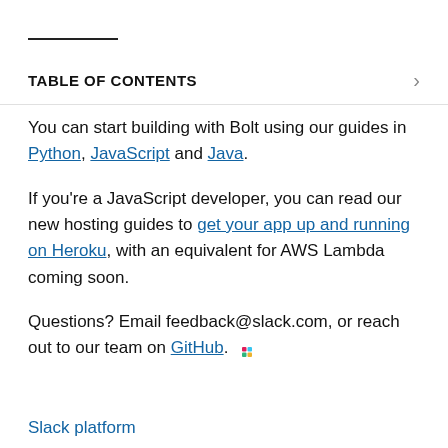TABLE OF CONTENTS
You can start building with Bolt using our guides in Python, JavaScript and Java.
If you're a JavaScript developer, you can read our new hosting guides to get your app up and running on Heroku, with an equivalent for AWS Lambda coming soon.
Questions? Email feedback@slack.com, or reach out to our team on GitHub.
Slack platform